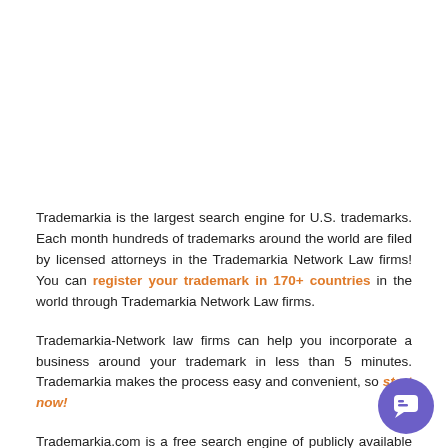Trademarkia is the largest search engine for U.S. trademarks. Each month hundreds of trademarks around the world are filed by licensed attorneys in the Trademarkia Network Law firms! You can register your trademark in 170+ countries in the world through Trademarkia Network Law firms.
Trademarkia-Network law firms can help you incorporate a business around your trademark in less than 5 minutes. Trademarkia makes the process easy and convenient, so start now!
Trademarkia.com is a free search engine of publicly available government records. Trademarkia.com is not a law firm and